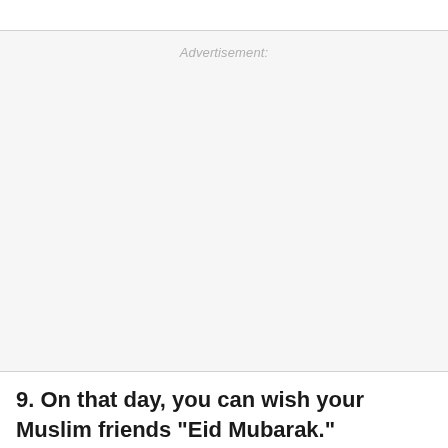[Figure (other): Advertisement placeholder box with light gray background and 'Advertisement:' label at top center]
9. On that day, you can wish your Muslim friends "Eid Mubarak."